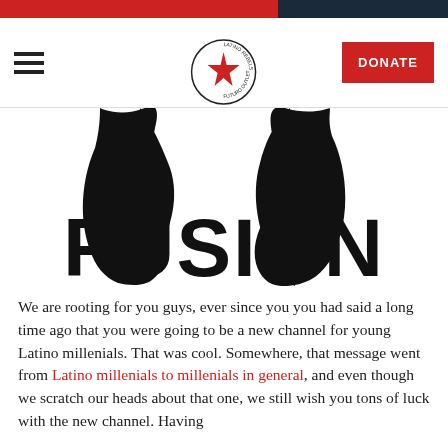Latino Rebels - A Futuro Media Property
[Figure (logo): Fusion TV logo showing large stylized FUSION text with partial circular arrows above]
We are rooting for you guys, ever since you you had said a long time ago that you were going to be a new channel for young Latino millenials. That was cool. Somewhere, that message went from Latino millenials to millenials in general, and even though we scratch our heads about that one, we still wish you tons of luck with the new channel. Having